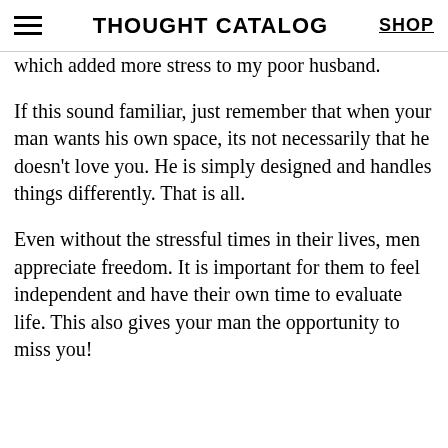THOUGHT CATALOG | SHOP
which added more stress to my poor husband.
If this sound familiar, just remember that when your man wants his own space, its not necessarily that he doesn't love you. He is simply designed and handles things differently. That is all.
Even without the stressful times in their lives, men appreciate freedom. It is important for them to feel independent and have their own time to evaluate life. This also gives your man the opportunity to miss you!